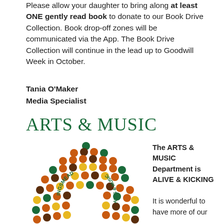Please allow your daughter to bring along at least ONE gently read book to donate to our Book Drive Collection. Book drop-off zones will be communicated via the App. The Book Drive Collection will continue in the lead up to Goodwill Week in October.
Tania O'Maker
Media Specialist
ARTS & MUSIC
[Figure (logo): Kingsmead Arts & Music circular logo made of coloured dots (green, orange, brown, yellow) arranged in a semicircle with the text KINGSMEAD ARTS & MUSIC curved around the inside]
The ARTS & MUSIC Department is ALIVE & KICKING

It is wonderful to have more of our